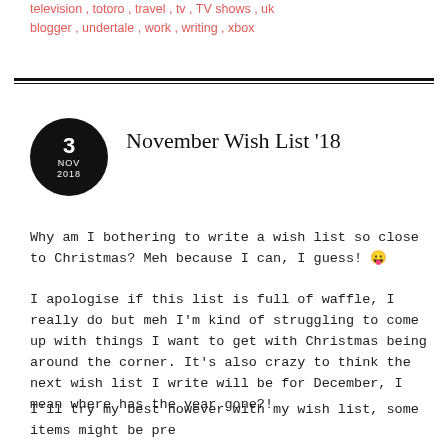television , totoro , travel , tv , TV shows , uk blogger , undertale , work , writing , xbox
November Wish List '18
Why am I bothering to write a wish list so close to Christmas? Meh because I can, I guess! 😛
I apologise if this list is full of waffle, I really do but meh I'm kind of struggling to come up with things I want to get with Christmas being around the corner. It's also crazy to think the next wish list I write will be for December, I mean where has the year gone?!
I'll try my best however with my wish list, some items might be pre order items or they might not be in it yet but it's still on my wish list...